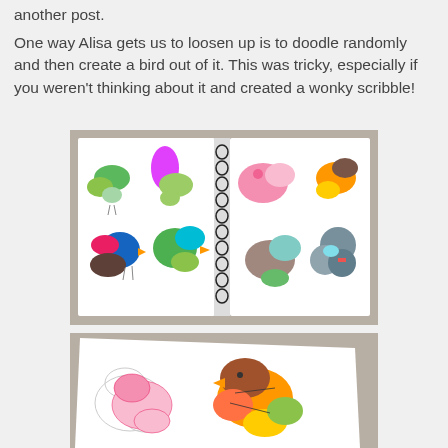another post.
One way Alisa gets us to loosen up is to doodle randomly and then create a bird out of it. This was tricky, especially if you weren't thinking about it and created a wonky scribble!
[Figure (photo): Open spiral-bound sketchbook showing multiple colorful bird drawings made from doodle shapes on white paper, placed on a grey linen background.]
[Figure (photo): Close-up of a sketchbook showing a large colorful bird made from overlapping circular doodle shapes in orange, brown, pink, yellow and green, with outline sketches of other birds visible, on a grey linen background.]